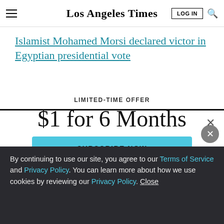Los Angeles Times
Islamist Mohamed Morsi declared victor in Egyptian presidential vote
LIMITED-TIME OFFER
$1 for 6 Months
SUBSCRIBE NOW
By continuing to use our site, you agree to our Terms of Service and Privacy Policy. You can learn more about how we use cookies by reviewing our Privacy Policy. Close